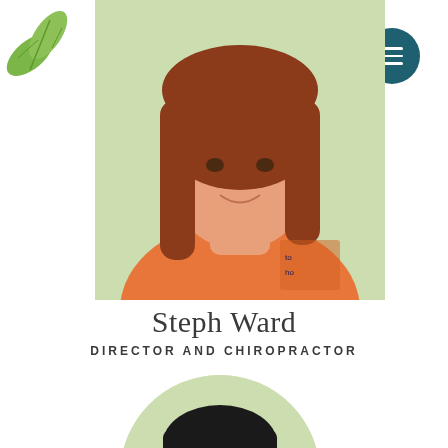[Figure (photo): Green leaf decoration in top-left corner of page]
[Figure (photo): Hamburger menu button: dark teal circle with three white horizontal lines, positioned top-right]
[Figure (photo): Photo of Steph Ward, a woman with long red/auburn hair wearing an orange t-shirt, set against a light green background. Cropped portrait showing head and upper body.]
Steph Ward
DIRECTOR AND CHIROPRACTOR
[Figure (photo): Partial photo of a second person (man with dark hair), showing from top of head to mid-face, within a circular crop on a light green background.]